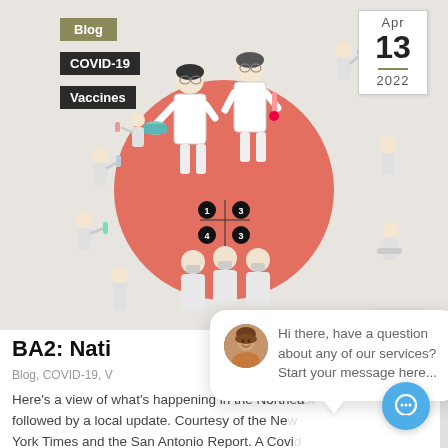[Figure (illustration): Medical illustration showing healthcare workers administering vaccines to patients, with a large red circle in the background and numbered steps (1, 3, 4, 3). Multiple small figures of people in various positions surround the central scene on a beige/gray background.]
Blog
COVID-19
Vaccines
Apr
13
2022
close
Hi there, have a question about any of our services? Start your message here...
BA2: Nati
Blog, COVID-19, V
Here's a view of what's happening in the Northeast followed by a local update. Courtesy of the New York Times and the San Antonio Report. A Covid uptick. Covid outbreaks in elite circles in